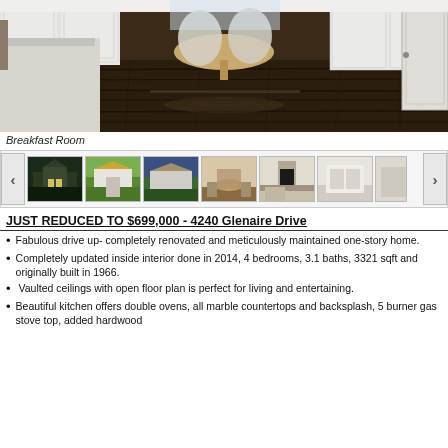[Figure (photo): Interior photo of a breakfast room with dark hardwood floors, white cabinetry, and a round dining table with upholstered chairs]
Breakfast Room
[Figure (photo): Thumbnail carousel of property photos including exterior and interior shots, with left and right navigation arrows]
JUST REDUCED TO $699,000 - 4240 Glenaire Drive
Fabulous drive up- completely renovated and meticulously maintained one-story home.
Completely updated inside interior done in 2014, 4 bedrooms, 3.1 baths, 3321 sqft and originally built in 1966.
Vaulted ceilings with open floor plan is perfect for living and entertaining.
Beautiful kitchen offers double ovens, all marble countertops and backsplash, 5 burner gas stove top, added hardwood